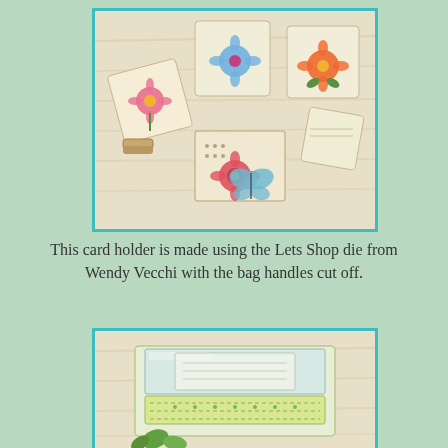[Figure (photo): A photo of a card holder craft project with floral and butterfly decorated mini cards/tags displayed in a wooden holder, on a whitewashed wood background. Cards feature painted flowers in pink, red, orange, and blue, and a blue butterfly.]
This card holder is made using the Lets Shop die from Wendy Vecchi with the bag handles cut off.
[Figure (photo): A close-up photo of the bottom portion of the card holder craft, showing layered decorative papers in pale blue, yellow-green and white tones with stitching patterns, on a whitewashed wood background.]